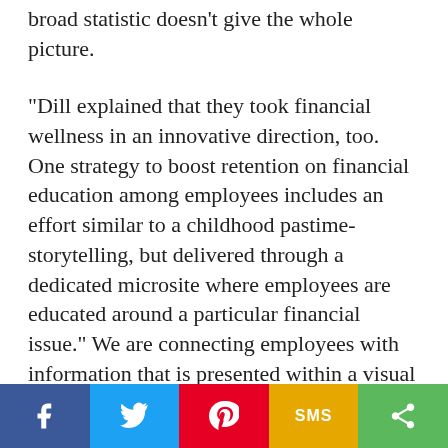broad statistic doesn't give the whole picture.
"Dill explained that they took financial wellness in an innovative direction, too. One strategy to boost retention on financial education among employees includes an effort similar to a childhood pastime-storytelling, but delivered through a dedicated microsite where employees are educated around a particular financial issue." We are connecting employees with information that is presented within a visual story where they become the main character of the story after selecting from a database of profiles of people who are like them," she said. "It was a visual but clinical approach to helping educate and connect employees with where they are financially and
Social share bar: Facebook, Twitter, Pinterest, SMS, Share